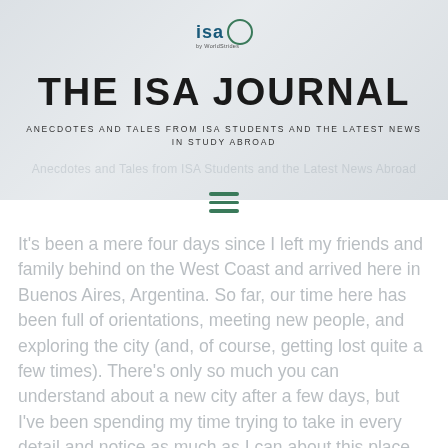[Figure (logo): ISA by WorldStrides logo — circular logo with 'isa' text and 'by WorldStrides' subtitle]
THE ISA JOURNAL
ANECDOTES AND TALES FROM ISA STUDENTS AND THE LATEST NEWS IN STUDY ABROAD
[Figure (other): Hamburger menu icon with three green horizontal lines]
It's been a mere four days since I left my friends and family behind on the West Coast and arrived here in Buenos Aires, Argentina. So far, our time here has been full of orientations, meeting new people, and exploring the city (and, of course, getting lost quite a few times). There's only so much you can understand about a new city after a few days, but I've been spending my time trying to take in every detail and notice as much as I can about this place I'll call home for the next four months. Here are some of the main